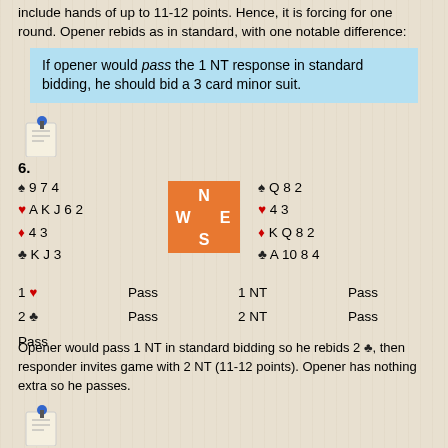include hands of up to 11-12 points. Hence, it is forcing for one round. Opener rebids as in standard, with one notable difference:
If opener would pass the 1 NT response in standard bidding, he should bid a 3 card minor suit.
[Figure (illustration): Notepad icon with blue pin for item 6]
6.
♠ 9 7 4
♥ A K J 6 2
♦ 4 3
♣ K J 3
[Figure (other): Compass rose showing N/W/E/S in orange box]
♠ Q 8 2
♥ 4 3
♦ K Q 8 2
♣ A 10 8 4
| 1♥ | Pass | 1 NT | Pass |
| 2♣ | Pass | 2 NT | Pass |
| Pass |  |  |  |
Opener would pass 1 NT in standard bidding so he rebids 2 ♣, then responder invites game with 2 NT (11-12 points). Opener has nothing extra so he passes.
[Figure (illustration): Notepad icon with blue pin for item 7]
7.
♠ K J 9 7 4
[Figure (other): Compass rose showing N in orange box (partial)]
♠ A Q 5